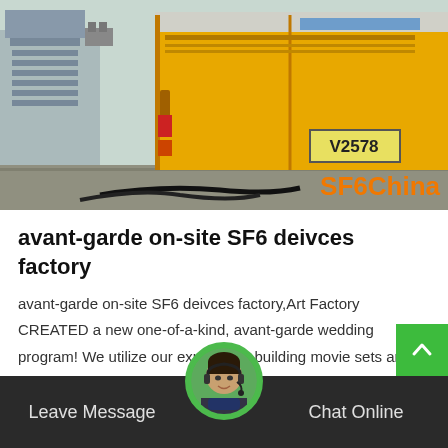[Figure (photo): Photo of a yellow industrial truck/vehicle with license plate V2578, with cables and machinery visible, and SF6China watermark in orange text at bottom right]
avant-garde on-site SF6 deivces factory
avant-garde on-site SF6 deivces factory,Art Factory CREATED a new one-of-a-kind, avant-garde wedding program! We utilize our experience building movie sets and hosting major film productions to Create your personalized Industrial Chic wedding Experience....
Get Price
Leave Message
Chat Online